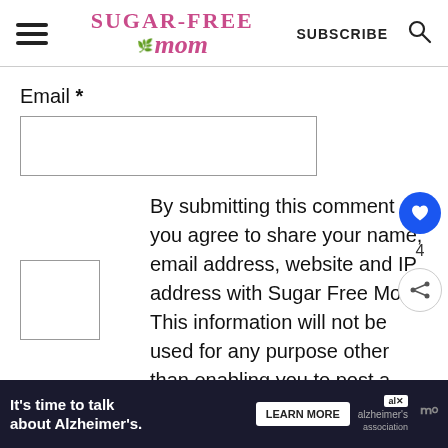Sugar-Free Mom — SUBSCRIBE [search icon]
Email *
By submitting this comment you agree to share your name, email address, website and IP address with Sugar Free Mom. This information will not be used for any purpose other than enabling you to post a comment. *
It's time to talk about Alzheimer's. LEARN MORE